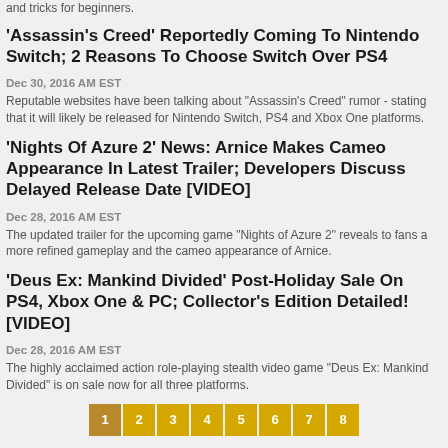and tricks for beginners.
'Assassin's Creed' Reportedly Coming To Nintendo Switch; 2 Reasons To Choose Switch Over PS4
Dec 30, 2016 AM EST
Reputable websites have been talking about "Assassin's Creed" rumor - stating that it will likely be released for Nintendo Switch, PS4 and Xbox One platforms.
'Nights Of Azure 2' News: Arnice Makes Cameo Appearance In Latest Trailer; Developers Discuss Delayed Release Date [VIDEO]
Dec 28, 2016 AM EST
The updated trailer for the upcoming game "Nights of Azure 2" reveals to fans a more refined gameplay and the cameo appearance of Arnice.
'Deus Ex: Mankind Divided' Post-Holiday Sale On PS4, Xbox One & PC; Collector's Edition Detailed! [VIDEO]
Dec 28, 2016 AM EST
The highly acclaimed action role-playing stealth video game "Deus Ex: Mankind Divided" is on sale now for all three platforms.
1 2 3 4 5 6 7 8